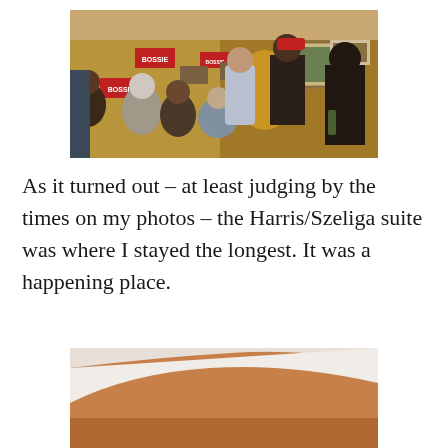[Figure (photo): Indoor group gathering in a room with warm yellow walls. Several people are gathered, with red campaign signs reading 'BOSSIE' visible on the walls. A framed picture hangs on the right wall. People are socializing; one person is seated in a wheelchair. The scene is dimly lit with warm orange-yellow light.]
As it turned out – at least judging by the times on my photos – the Harris/Szeliga suite was where I stayed the longest. It was a happening place.
[Figure (photo): Partially visible photo at the bottom of the page showing what appears to be a paper or white surface against a warm orange/yellow background, likely a hotel room.]